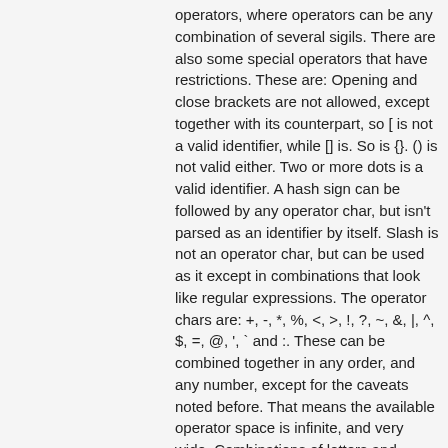operators, where operators can be any combination of several sigils. There are also some special operators that have restrictions. These are: Opening and close brackets are not allowed, except together with its counterpart, so [ is not a valid identifier, while [] is. So is {}. () is not valid either. Two or more dots is a valid identifier. A hash sign can be followed by any operator char, but isn't parsed as an identifier by itself. Slash is not an operator char, but can be used as it except in combinations that look like regular expressions. The operator chars are: +, -, *, %, <, >, !, ?, ~, &, |, ^, $, =, @, ', ` and :. These can be combined together in any order, and any number, except for the caveats noted before. That means the available operator space is infinite, and very wide. Combinations of letters and operator characters are generally not allowed, except for the exceptions with :, ! and ?. This is to make it possible to have infix operations without spaces in some situations.
The two forms of brackets will get turned into a